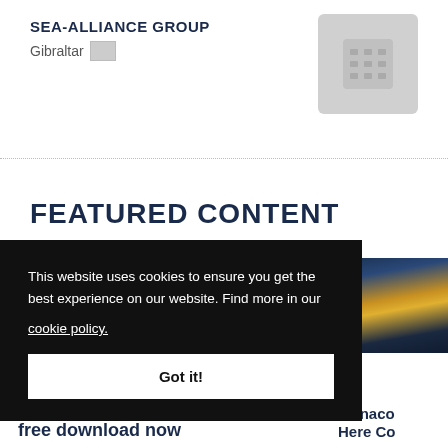SEA-ALLIANCE GROUP
Gibraltar
[Figure (screenshot): Website screenshot showing Sea-Alliance Group listing with calendar/grid icon placeholder]
FEATURED CONTENT
[Figure (photo): Left photo showing naval/maritime content with blue diagonal elements]
[Figure (photo): Right photo partially visible showing Monaco city skyline at night]
This website uses cookies to ensure you get the best experience on our website. Find more in our cookie policy.
Got it!
free download now
Monaco Here Cor